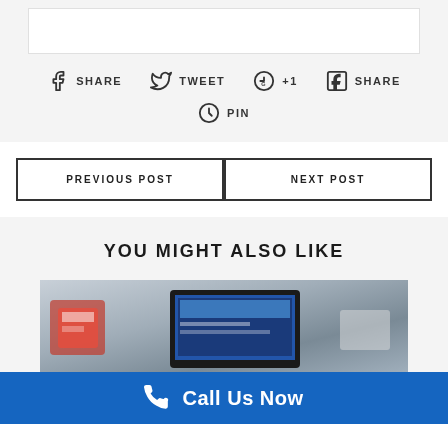[Figure (other): White content box at top on grey background]
f SHARE   TWEET   G +1   in SHARE   PIN
PREVIOUS POST
NEXT POST
YOU MIGHT ALSO LIKE
[Figure (photo): Photo of a tablet/laptop device on a table with some items]
Call Us Now